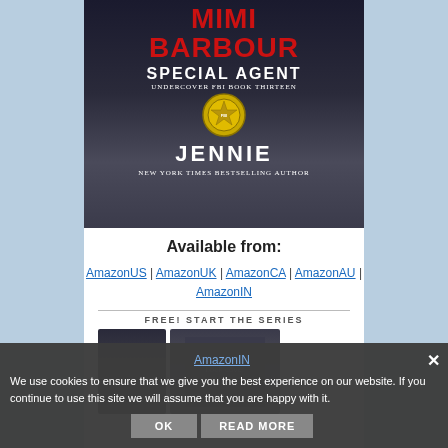[Figure (illustration): Book cover for 'Special Agent Jennie' by Mimi Barbour, Undercover FBI Book Thirteen. New York Times Bestselling Author. Dark background with FBI badge.]
Available from:
AmazonUS | AmazonUK | AmazonCA | AmazonAU | AmazonIN
FREE! START THE SERIES
[Figure (photo): Small book cover thumbnails below FREE! START THE SERIES banner]
We use cookies to ensure that we give you the best experience on our website. If you continue to use this site we will assume that you are happy with it.
OK    READ MORE